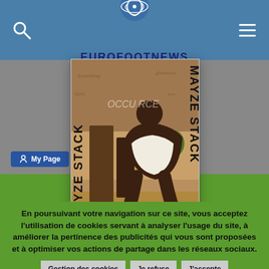EUROFOOTNEWS
[Figure (screenshot): Cookie consent overlay on EUROFOOTNEWS website showing a PUMA Mayze Stack shoe advertisement popup, with cookie consent message and buttons: Gestion des cookies, Je refuse, J'accepte]
En poursuivant votre navigation sur ce site, vous acceptez l'utilisation de cookies servant à analyser l'usage du site, à améliorer la pertinence des publicités qui vous sont proposées et à optimiser vos actions de partage dans les réseaux sociaux.
Gestion des cookies
Je refuse
J'accepte